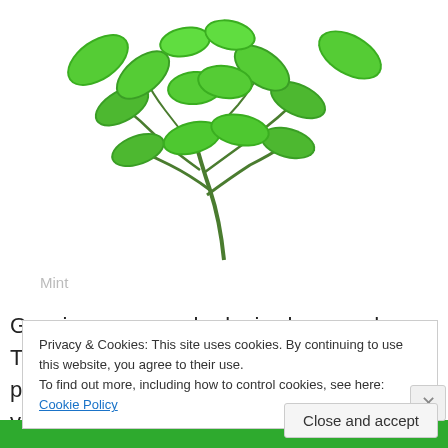[Figure (photo): A sprig of fresh green mint herb against a white background, photographed from above.]
Mint
Growing your own herbs is cheap and easy. The seeds are inexpensive and the plants prolific. My oregano comes back year-after-year, but I replant parsley, chives, dill, mint and lots of basil.
Privacy & Cookies: This site uses cookies. By continuing to use this website, you agree to their use.
To find out more, including how to control cookies, see here: Cookie Policy
Close and accept